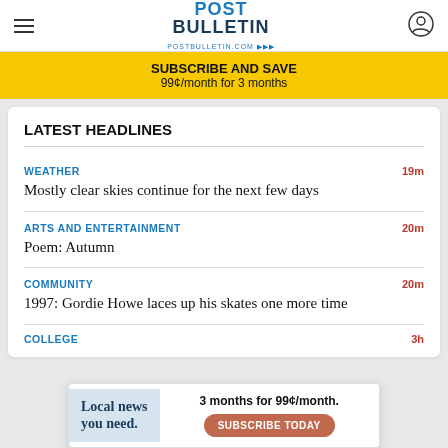POST BULLETIN | POSTBULLETIN.COM
SUBSCRIBE AND SAVE
99¢/month for 3 months
LATEST HEADLINES
WEATHER | 19m
Mostly clear skies continue for the next few days
ARTS AND ENTERTAINMENT | 20m
Poem: Autumn
COMMUNITY | 20m
1997: Gordie Howe laces up his skates one more time
COLLEGE | 3h
[Figure (screenshot): Advertisement banner: Local news you need. 3 months for 99¢/month. SUBSCRIBE TODAY]